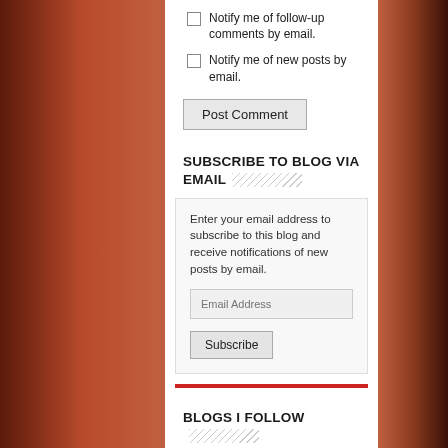Notify me of follow-up comments by email.
Notify me of new posts by email.
Post Comment
SUBSCRIBE TO BLOG VIA EMAIL
Enter your email address to subscribe to this blog and receive notifications of new posts by email.
Email Address
Subscribe
BLOGS I FOLLOW
Jani Allan
Juggling Act of Life
Mari's World